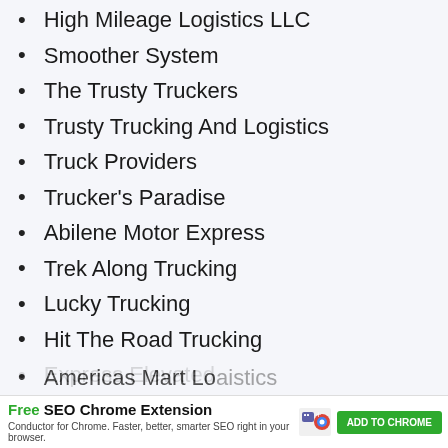High Mileage Logistics LLC
Smoother System
The Trusty Truckers
Trusty Trucking And Logistics
Truck Providers
Trucker's Paradise
Abilene Motor Express
Trek Along Trucking
Lucky Trucking
Hit The Road Trucking
Express Elevated
Speed-o-trucks
Americas Mart Logistics
[Figure (screenshot): Advertisement banner: Free SEO Chrome Extension by Conductor for Chrome. Faster, better, smarter SEO right in your browser. ADD TO CHROME button.]
Americas Mart Logistics (partial, cut off at bottom)